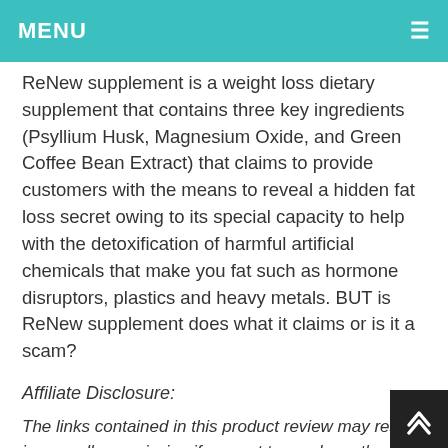MENU
ReNew supplement is a weight loss dietary supplement that contains three key ingredients (Psyllium Husk, Magnesium Oxide, and Green Coffee Bean Extract) that claims to provide customers with the means to reveal a hidden fat loss secret owing to its special capacity to help with the detoxification of harmful artificial chemicals that make you fat such as hormone disruptors, plastics and heavy metals. BUT is ReNew supplement does what it claims or is it a scam?
Affiliate Disclosure:
The links contained in this product review may result in a small commission if you opt to purchase the product recommended at no additional cost to you. This goes towards supporting our research and editorial team and please know we only recommend high quality products.